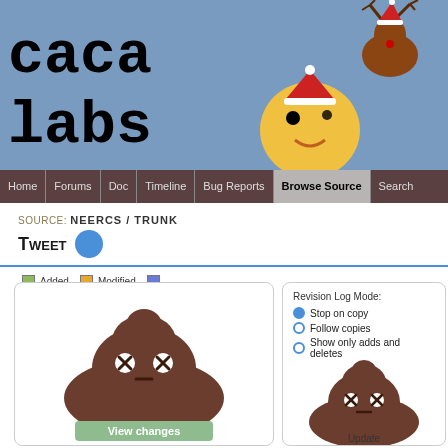[Figure (illustration): caca labs website header with illustrated cartoon characters (emoji face with Santa hat, reindeer, computer terminals with Santa hats, poop emoji characters) on a blue-grey background with site name 'caca labs' in large monospace font]
Home | Forums | Doc | Timeline | Bug Reports | Browse Source | Search
SOURCE: NEERCS / TRUNK
TWEET
Added  Modified  [square] Copied or renamed
[Figure (illustration): Cartoon poop emoji character with X X eyes and a dash mouth, labeled 'View changes' on rounded rectangle button below]
Revision Log Mode:
Stop on copy
Follow copies
Show only adds and deletes
[Figure (illustration): Cartoon poop emoji character with X X eyes and a dash mouth, labeled 'Update']